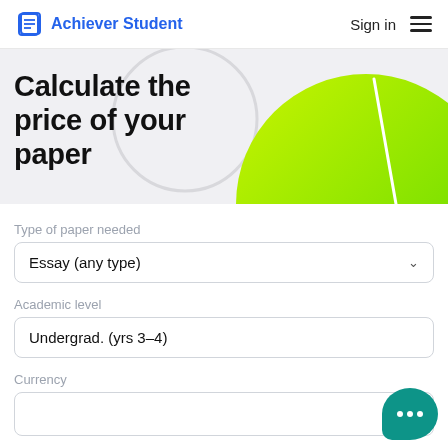Achiever Student
Calculate the price of your paper
Type of paper needed
Essay (any type)
Academic level
Undergrad. (yrs 3–4)
Currency